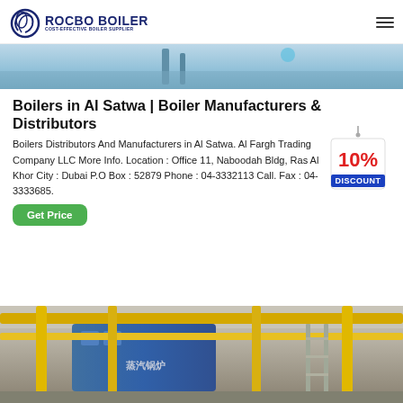[Figure (logo): Rocbo Boiler logo with circular wave icon and text 'ROCBO BOILER - COST-EFFECTIVE BOILER SUPPLIER']
[Figure (photo): Top portion of industrial boiler equipment photo, blue/sky tones]
Boilers in Al Satwa | Boiler Manufacturers & Distributors
Boilers Distributors And Manufacturers in Al Satwa. Al Fargh Trading Company LLC More Info. Location : Office 11, Naboodah Bldg, Ras Al Khor City : Dubai P.O Box : 52879 Phone : 04-3332113 Call. Fax : 04-3333685.
[Figure (infographic): 10% DISCOUNT badge/tag graphic in red and blue on hanging tag shape]
Get Price
[Figure (photo): Industrial boiler facility with yellow pipes and blue boiler equipment]